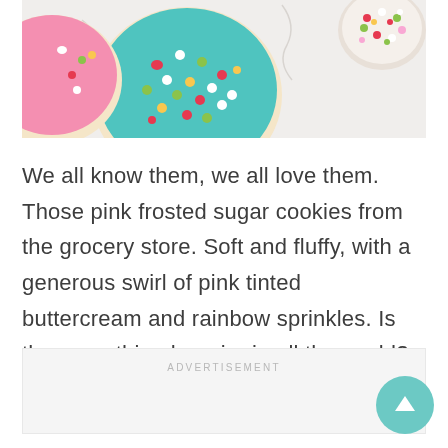[Figure (photo): Top-down photo of colorful frosted sugar cookies with rainbow sprinkles on a white background, and a bowl of sprinkles in the upper right corner.]
We all know them, we all love them. Those pink frosted sugar cookies from the grocery store. Soft and fluffy, with a generous swirl of pink tinted buttercream and rainbow sprinkles. Is there anything happier in all the world?
ADVERTISEMENT